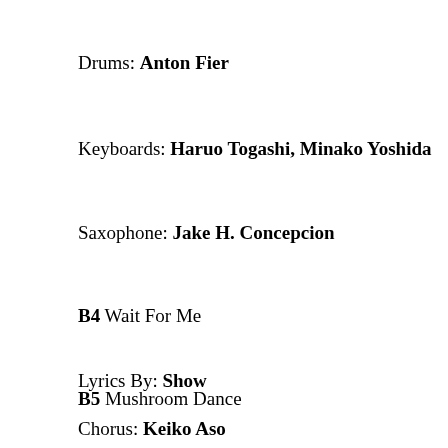Drums: Anton Fier
Keyboards: Haruo Togashi, Minako Yoshida
Saxophone: Jake H. Concepcion
B4 Wait For Me
Lyrics By: Show
B5 Mushroom Dance
Chorus: Keiko Aso